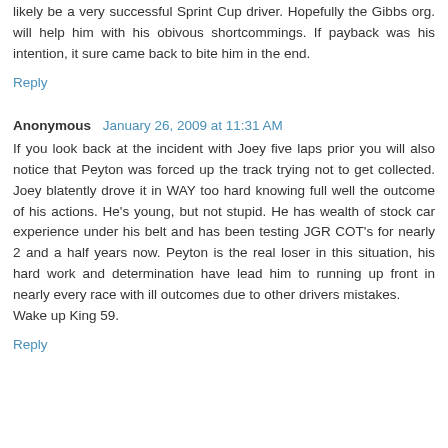likely be a very successful Sprint Cup driver. Hopefully the Gibbs org. will help him with his obivous shortcommings. If payback was his intention, it sure came back to bite him in the end.
Reply
Anonymous  January 26, 2009 at 11:31 AM
If you look back at the incident with Joey five laps prior you will also notice that Peyton was forced up the track trying not to get collected. Joey blatently drove it in WAY too hard knowing full well the outcome of his actions. He's young, but not stupid. He has wealth of stock car experience under his belt and has been testing JGR COT's for nearly 2 and a half years now. Peyton is the real loser in this situation, his hard work and determination have lead him to running up front in nearly every race with ill outcomes due to other drivers mistakes.
Wake up King 59.
Reply